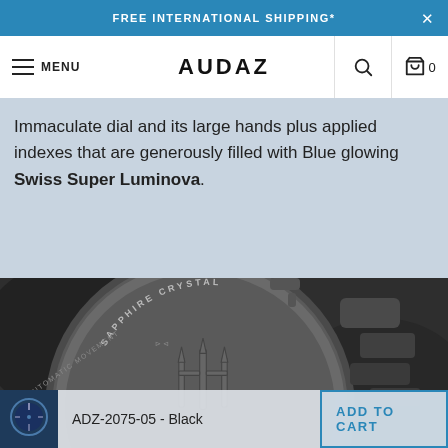FREE INTERNATIONAL SHIPPING*
AUDAZ  MENU
Immaculate dial and its large hands plus applied indexes that are generously filled with Blue glowing Swiss Super Luminova.
[Figure (photo): Close-up photo of the caseback of a grey/gunmetal watch with a trident engraving, showing text SAPPHIRE CRYSTAL around the bezel and a metal bracelet.]
ADZ-2075-05 - Black  ADD TO CART